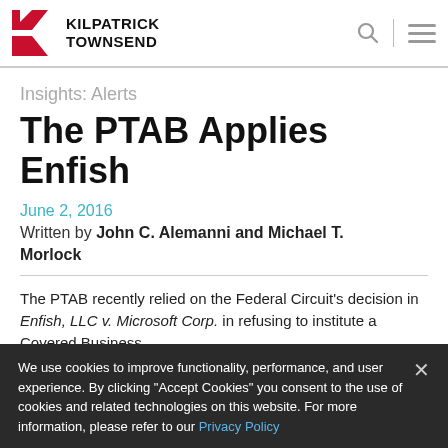Kilpatrick Townsend
Insights: Alerts
The PTAB Applies Enfish
June 2, 2016
Written by John C. Alemanni and Michael T. Morlock
The PTAB recently relied on the Federal Circuit's decision in Enfish, LLC v. Microsoft Corp. in refusing to institute a Covered Business
We use cookies to improve functionality, performance, and user experience. By clicking “Accept Cookies” you consent to the use of cookies and related technologies on this website. For more information, please refer to our Privacy Policy